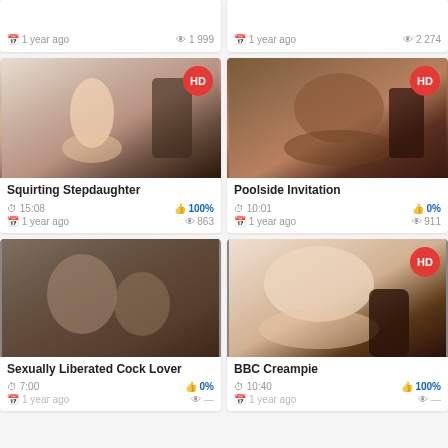[Figure (screenshot): Partial video thumbnail cards at top showing metadata: 1 year ago, 1999 views (left); 1 year ago, 2274 views (right)]
[Figure (photo): Video thumbnail for Squirting Stepdaughter with HD badge]
Squirting Stepdaughter
15:08  100%  1 year ago  863
[Figure (photo): Video thumbnail for Poolside Invitation with HD badge]
Poolside Invitation
10:01  0%  1 year ago  911
[Figure (photo): Video thumbnail for Sexually Liberated Cock Lover (no HD badge)]
Sexually Liberated Cock Lover
7:00  0%
[Figure (photo): Video thumbnail for BBC Creampie with HD badge]
BBC Creampie
10:40  100%